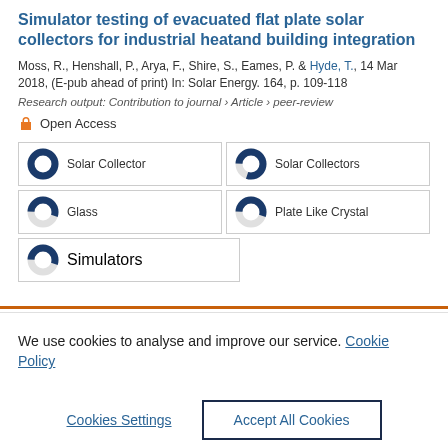Simulator testing of evacuated flat plate solar collectors for industrial heatand building integration
Moss, R., Henshall, P., Arya, F., Shire, S., Eames, P. & Hyde, T., 14 Mar 2018, (E-pub ahead of print) In: Solar Energy. 164, p. 109-118
Research output: Contribution to journal › Article › peer-review
Open Access
Solar Collector
Solar Collectors
Glass
Plate Like Crystal
Simulators
We use cookies to analyse and improve our service. Cookie Policy
Cookies Settings
Accept All Cookies